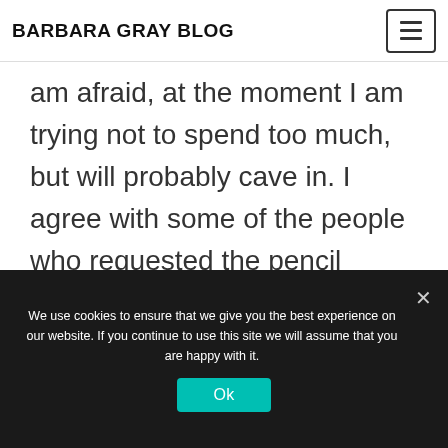BARBARA GRAY BLOG
am afraid, at the moment I am trying not to spend too much, but will probably cave in. I agree with some of the people who requested the pencil extenders, I am starting to get smaller pencils now, A4 stampboard or mixed media board. I would like
We use cookies to ensure that we give you the best experience on our website. If you continue to use this site we will assume that you are happy with it.